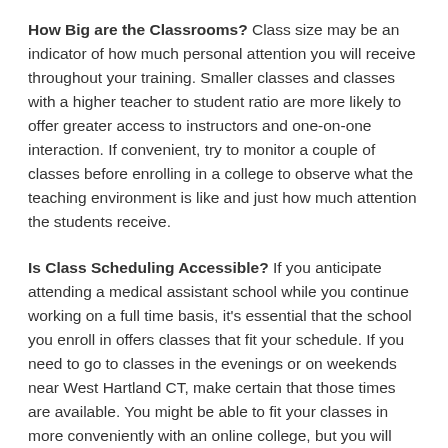How Big are the Classrooms? Class size may be an indicator of how much personal attention you will receive throughout your training. Smaller classes and classes with a higher teacher to student ratio are more likely to offer greater access to instructors and one-on-one interaction. If convenient, try to monitor a couple of classes before enrolling in a college to observe what the teaching environment is like and just how much attention the students receive.
Is Class Scheduling Accessible? If you anticipate attending a medical assistant school while you continue working on a full time basis, it's essential that the school you enroll in offers classes that fit your schedule. If you need to go to classes in the evenings or on weekends near West Hartland CT, make certain that those times are available. You might be able to fit your classes in more conveniently with an online college, but you will